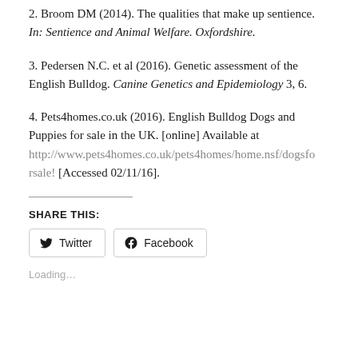2. Broom DM (2014). The qualities that make up sentience. In: Sentience and Animal Welfare. Oxfordshire.
3. Pedersen N.C. et al (2016). Genetic assessment of the English Bulldog. Canine Genetics and Epidemiology 3, 6.
4. Pets4homes.co.uk (2016). English Bulldog Dogs and Puppies for sale in the UK. [online] Available at http://www.pets4homes.co.uk/pets4homes/home.nsf/dogsforsale! [Accessed 02/11/16].
SHARE THIS:
Twitter  Facebook
Loading…